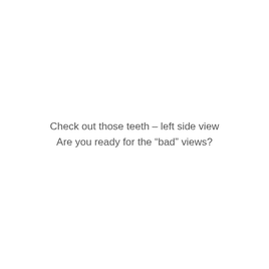Check out those teeth – left side view
Are you ready for the “bad” views?